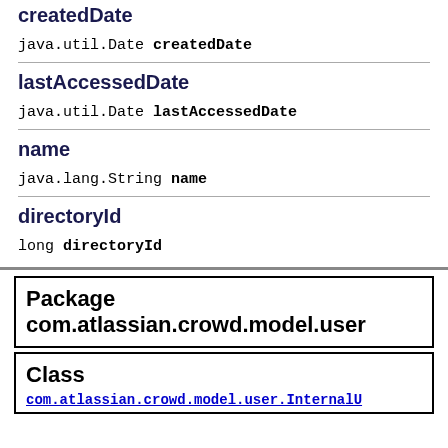createdDate
java.util.Date createdDate
lastAccessedDate
java.util.Date lastAccessedDate
name
java.lang.String name
directoryId
long directoryId
Package com.atlassian.crowd.model.user
Class